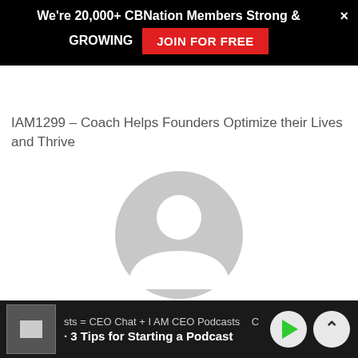We're 20,000+ CBNation Members Strong & GROWING  JOIN FOR FREE
IAM1299 - Coach Helps Founders Optimize their Lives and Thrive
[Figure (illustration): Generic user avatar placeholder: gray circle with white person silhouette]
Mercy - CBNation
This is a post from a CBNation writer. CBNation is a Business to Business (B2B) Brand focusing on increasing the visibility of and providing resources for CEOs, entrepreneurs and business owners. CBNation consists of blogs (CEOBlogNation.com), podcasts (CEOPodcasts.com)
sts = CEO Chat + I AM CEO Podcasts   · 3 Tips for Starting a Podcast